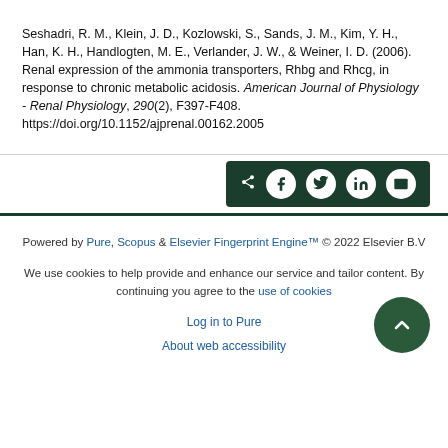Seshadri, R. M., Klein, J. D., Kozlowski, S., Sands, J. M., Kim, Y. H., Han, K. H., Handlogten, M. E., Verlander, J. W., & Weiner, I. D. (2006). Renal expression of the ammonia transporters, Rhbg and Rhcg, in response to chronic metabolic acidosis. American Journal of Physiology - Renal Physiology, 290(2), F397-F408. https://doi.org/10.1152/ajprenal.00162.2005
[Figure (other): Social share bar with share, Facebook, Twitter, LinkedIn, and email icons on dark green background]
Powered by Pure, Scopus & Elsevier Fingerprint Engine™ © 2022 Elsevier B.V

We use cookies to help provide and enhance our service and tailor content. By continuing you agree to the use of cookies

Log in to Pure

About web accessibility